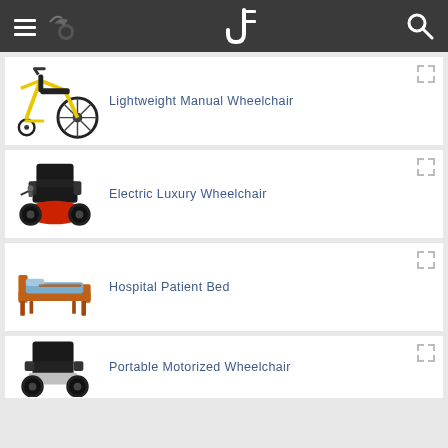Navigation header with hamburger menu, logo, and search icon
Lightweight Manual Wheelchair
Electric Luxury Wheelchair
Hospital Patient Bed
Portable Motorized Wheelchair